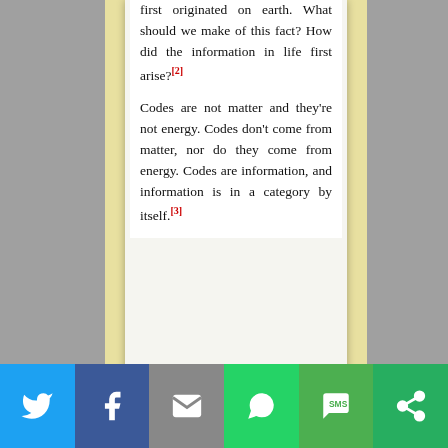first originated on earth. What should we make of this fact? How did the information in life first arise?[2]
Codes are not matter and they're not energy. Codes don't come from matter, nor do they come from energy. Codes are information, and information is in a category by itself.[3]
[Figure (other): Definition Domain for Information diagram, partially visible at bottom of page]
Social sharing bar: Twitter, Facebook, Email, WhatsApp, SMS, Share